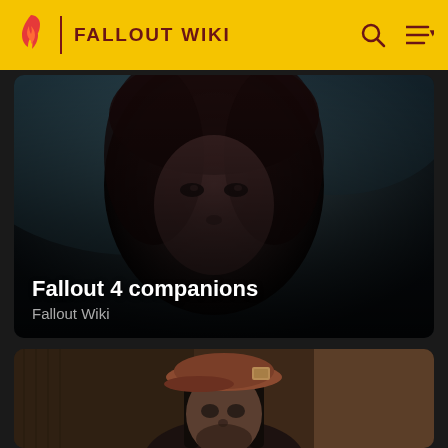FALLOUT WIKI
[Figure (photo): Close-up portrait of a dark-haired female video game character from Fallout 4 against a dark moody background]
Fallout 4 companions
Fallout Wiki
[Figure (photo): Close-up portrait of a female video game character wearing a worn reddish-brown flat cap with dark long hair, from Fallout 4]